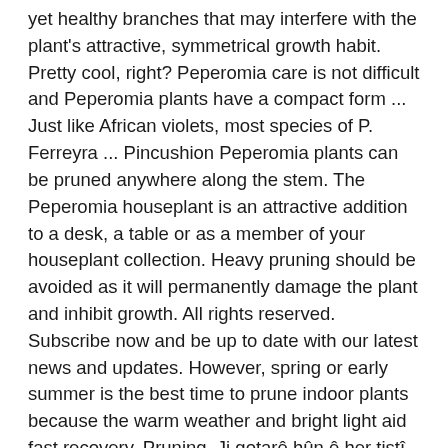yet healthy branches that may interfere with the plant's attractive, symmetrical growth habit. Pretty cool, right? Peperomia care is not difficult and Peperomia plants have a compact form ... Just like African violets, most species of P. Ferreyra ... Pincushion Peperomia plants can be pruned anywhere along the stem. The Peperomia houseplant is an attractive addition to a desk, a table or as a member of your houseplant collection. Heavy pruning should be avoided as it will permanently damage the plant and inhibit growth. All rights reserved. Subscribe now and be up to date with our latest news and updates. However, spring or early summer is the best time to prune indoor plants because the warm weather and bright light aid fast recovery. Pruning. Ji gotarê hûn ê her tiştî di derheqê ferreira peperomia de fêr bibin, dema ku ew şîn dibe û çawa çawa bi rêkûpêk li malê lênihêrin. Fresh Christmas Greens. Repot plants in spring, especially to refresh the existing soil, but place either back into the same size container after root-pruning ... Peperomia are native to tropical and subtropical regions of the world, in particular Central America. Bury the entire bottom half of the cutting in the sand and press it firmly against the stem. Parallel peperomia reaches a mature height of 15 inches with an upright growth habit, so it